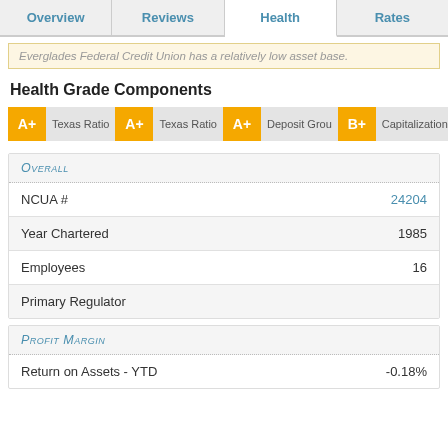Overview | Reviews | Health | Rates
Everglades Federal Credit Union has a relatively low asset base.
Health Grade Components
A+ Texas Ratio  A+ Texas Ratio  A+ Deposit Grou  B+ Capitalization
|  |  |
| --- | --- |
| NCUA # | 24204 |
| Year Chartered | 1985 |
| Employees | 16 |
| Primary Regulator |  |
Profit Margin
|  |  |
| --- | --- |
| Return on Assets - YTD | -0.18% |